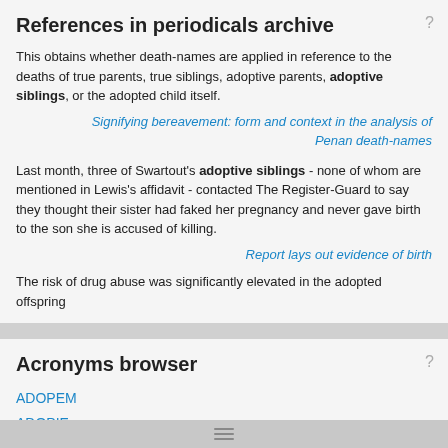References in periodicals archive
This obtains whether death-names are applied in reference to the deaths of true parents, true siblings, adoptive parents, adoptive siblings, or the adopted child itself.
Signifying bereavement: form and context in the analysis of Penan death-names
Last month, three of Swartout's adoptive siblings - none of whom are mentioned in Lewis's affidavit - contacted The Register-Guard to say they thought their sister had faked her pregnancy and never gave birth to the son she is accused of killing.
Report lays out evidence of birth
The risk of drug abuse was significantly elevated in the adopted offspring
Acronyms browser
ADOPEM
ADOPIE